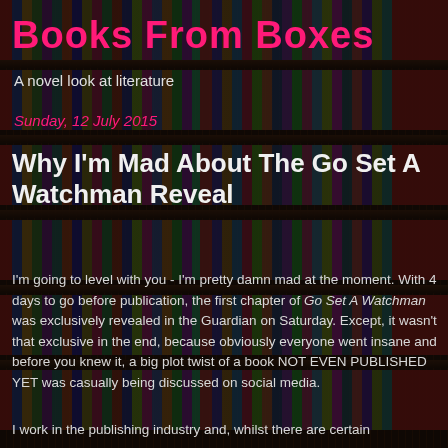[Figure (photo): Background photo of a library bookshelf filled with colorful books on multiple shelves, darkened with overlay]
Books From Boxes
A novel look at literature
Sunday, 12 July 2015
Why I'm Mad About The Go Set A Watchman Reveal
I'm going to level with you - I'm pretty damn mad at the moment. With 4 days to go before publication, the first chapter of Go Set A Watchman was exclusively revealed in the Guardian on Saturday. Except, it wasn't that exclusive in the end, because obviously everyone went insane and before you knew it, a big plot twist of a book NOT EVEN PUBLISHED YET was casually being discussed on social media.
I work in the publishing industry and, whilst there are certain